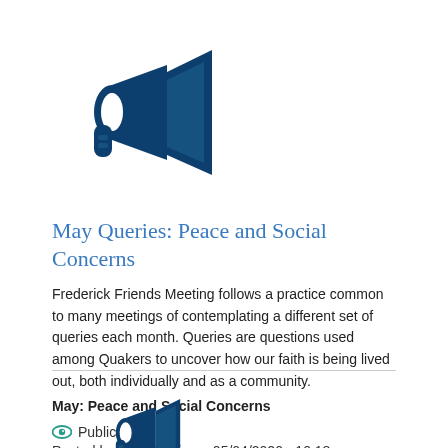[Figure (illustration): Dark blue megaphone/bullhorn icon]
May Queries: Peace and Social Concerns
Frederick Friends Meeting follows a practice common to many meetings of contemplating a different set of queries each month. Queries are questions used among Quakers to uncover how our faith is being lived out, both individually and as a community. May: Peace and Social Concerns
Public
Posted by Web Admin on 05/04/2020 - 10:18am
[Figure (illustration): Dark blue megaphone/bullhorn icon (partially visible, bottom of page)]